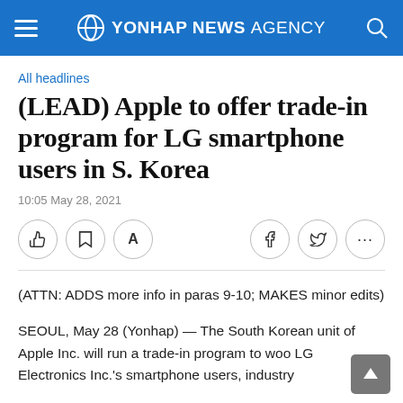YONHAP NEWS AGENCY
All headlines
(LEAD) Apple to offer trade-in program for LG smartphone users in S. Korea
10:05 May 28, 2021
(ATTN: ADDS more info in paras 9-10; MAKES minor edits)
SEOUL, May 28 (Yonhap) — The South Korean unit of Apple Inc. will run a trade-in program to woo LG Electronics Inc.'s smartphone users, industry